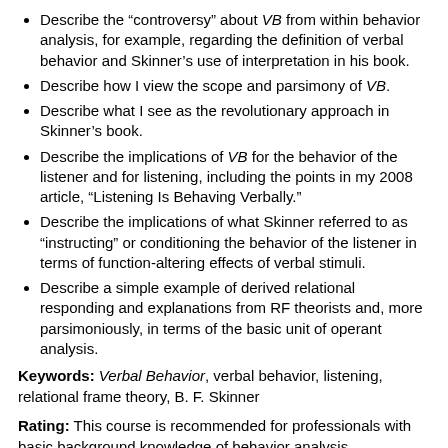Describe the “controversy” about VB from within behavior analysis, for example, regarding the definition of verbal behavior and Skinner’s use of interpretation in his book.
Describe how I view the scope and parsimony of VB.
Describe what I see as the revolutionary approach in Skinner’s book.
Describe the implications of VB for the behavior of the listener and for listening, including the points in my 2008 article, “Listening Is Behaving Verbally.”
Describe the implications of what Skinner referred to as “instructing” or conditioning the behavior of the listener in terms of function-altering effects of verbal stimuli.
Describe a simple example of derived relational responding and explanations from RF theorists and, more parsimoniously, in terms of the basic unit of operant analysis.
Keywords: Verbal Behavior, verbal behavior, listening, relational frame theory, B. F. Skinner
Rating: This course is recommended for professionals with basic background knowledge of behavior analysis. Prerequisite knowledge of Skinner’s Analysis of Verbal Behavior is suggested.